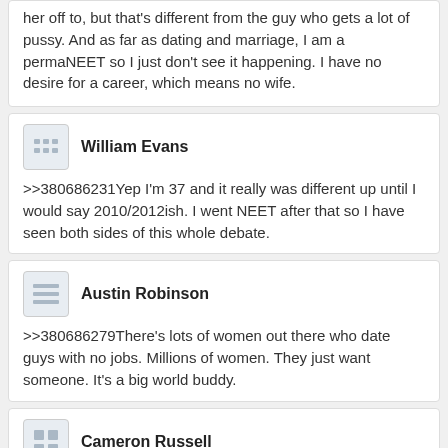her off to, but that's different from the guy who gets a lot of pussy. And as far as dating and marriage, I am a permaNEET so I just don't see it happening. I have no desire for a career, which means no wife.
William Evans
>>380686231Yep I'm 37 and it really was different up until I would say 2010/2012ish. I went NEET after that so I have seen both sides of this whole debate.
Austin Robinson
>>380686279There's lots of women out there who date guys with no jobs. Millions of women. They just want someone. It's a big world buddy.
Cameron Russell
>>380686625Most of those girls have qualities that